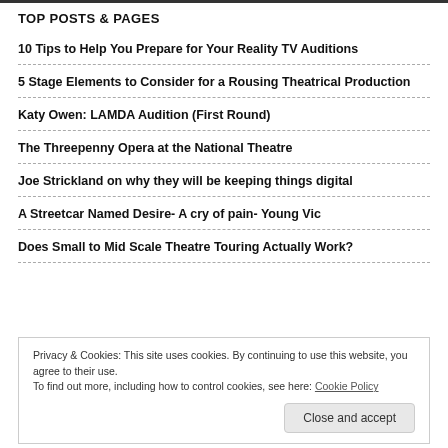TOP POSTS & PAGES
10 Tips to Help You Prepare for Your Reality TV Auditions
5 Stage Elements to Consider for a Rousing Theatrical Production
Katy Owen: LAMDA Audition (First Round)
The Threepenny Opera at the National Theatre
Joe Strickland on why they will be keeping things digital
A Streetcar Named Desire- A cry of pain- Young Vic
Does Small to Mid Scale Theatre Touring Actually Work?
Privacy & Cookies: This site uses cookies. By continuing to use this website, you agree to their use.
To find out more, including how to control cookies, see here: Cookie Policy